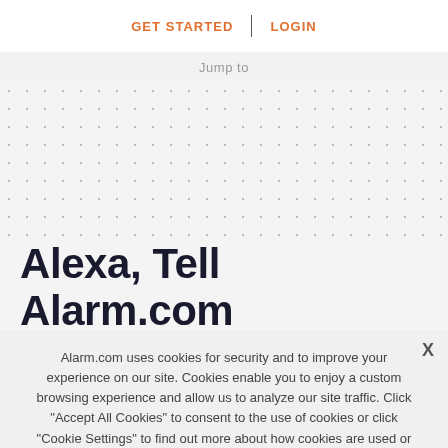GET STARTED | LOGIN
Jump to
Alexa, Tell Alarm.com It's Movie Night: We've
Alarm.com uses cookies for security and to improve your experience on our site. Cookies enable you to enjoy a custom browsing experience and allow us to analyze our site traffic. Click "Accept All Cookies" to consent to the use of cookies or click "Cookie Settings" to find out more about how cookies are used or to change your cookie preferences.
Accept All Cookies
COOKIE SETTINGS